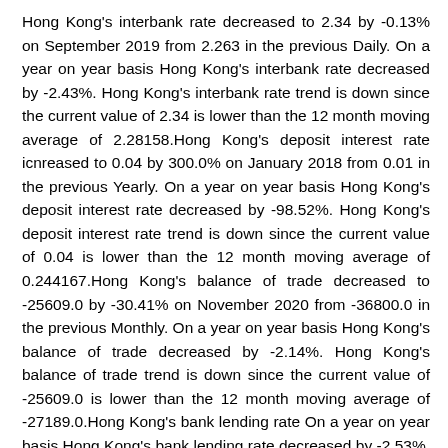Hong Kong's interbank rate decreased to 2.34 by -0.13% on September 2019 from 2.263 in the previous Daily. On a year on year basis Hong Kong's interbank rate decreased by -2.43%. Hong Kong's interbank rate trend is down since the current value of 2.34 is lower than the 12 month moving average of 2.28158.Hong Kong's deposit interest rate icnreased to 0.04 by 300.0% on January 2018 from 0.01 in the previous Yearly. On a year on year basis Hong Kong's deposit interest rate decreased by -98.52%. Hong Kong's deposit interest rate trend is down since the current value of 0.04 is lower than the 12 month moving average of 0.244167.Hong Kong's balance of trade decreased to -25609.0 by -30.41% on November 2020 from -36800.0 in the previous Monthly. On a year on year basis Hong Kong's balance of trade decreased by -2.14%. Hong Kong's balance of trade trend is down since the current value of -25609.0 is lower than the 12 month moving average of -27189.0.Hong Kong's bank lending rate On a year on year basis Hong Kong's bank lending rate decreased by -2.53%. Hong Kong's bank lending rate trend is down since the current value of 5.0 is lower than the 12 month moving average of